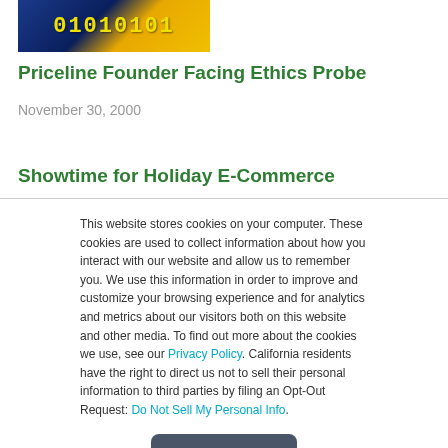[Figure (illustration): Binary code thumbnail image with blue and gold colors showing '01010101' text]
Priceline Founder Facing Ethics Probe
November 30, 2000
Showtime for Holiday E-Commerce
This website stores cookies on your computer. These cookies are used to collect information about how you interact with our website and allow us to remember you. We use this information in order to improve and customize your browsing experience and for analytics and metrics about our visitors both on this website and other media. To find out more about the cookies we use, see our Privacy Policy. California residents have the right to direct us not to sell their personal information to third parties by filing an Opt-Out Request: Do Not Sell My Personal Info.
Accept